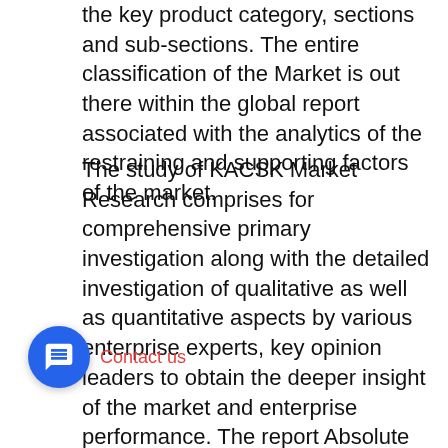the key product category, sections and sub-sections. The entire classification of the Market is out there within the global report associated with the analytics of the restraining and supporting factors of the market.
The study of KACSK Market Research comprises for comprehensive primary investigation along with the detailed investigation of qualitative as well as quantitative aspects by various enterprise experts, key opinion leaders to obtain the deeper insight of the market and enterprise performance. The report Absolute Encoders Market gives a definite perception of popular market situation which introduces the historical and predicted market size in terms of value and volume, technological advancement, macro environment, governing factors in the market. The report presents details information and strategies of the top key players in the industry.